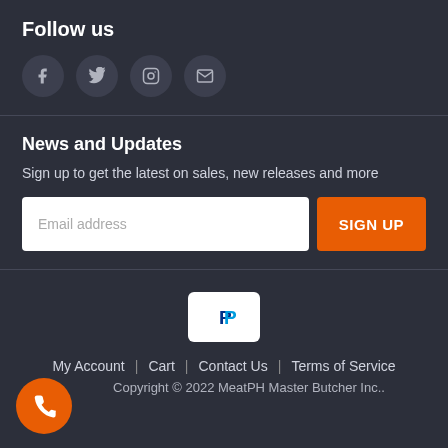Follow us
[Figure (infographic): Four social media icon circles: Facebook (f), Twitter (bird), Instagram (camera), Email (envelope)]
News and Updates
Sign up to get the latest on sales, new releases and more
[Figure (infographic): Email address input field with placeholder 'Email address' and an orange SIGN UP button]
[Figure (logo): PayPal logo in white rectangle]
My Account | Cart | Contact Us | Terms of Service
Copyright © 2022 MeatPH Master Butcher Inc..